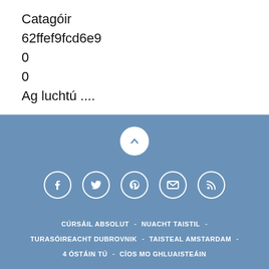Catagóir
62ffef9fcd6e9
0
0
Ag luchtú ....
[Figure (infographic): Blue footer section with scroll-up button (white circle with up arrow), social media icons (Facebook, Twitter, Pinterest, Email, RSS), navigation links in Irish (CÚRSÁIL ABSOLUT, NUACHT TAISTIL, TURASÓIREACHT DUBROVNIK, TAISTEAL AMSTARDAM, 4 ÓSTÁIN TÚ, CÍOS MO GHLUAISTEÁIN), and a language selector showing Spanish]
CÚRSÁIL ABSOLUT - NUACHT TAISTIL - TURASÓIREACHT DUBROVNIK - TAISTEAL AMSTARDAM - 4 ÓSTÁIN TÚ - CÍOS MO GHLUAISTEÁIN
Spanish